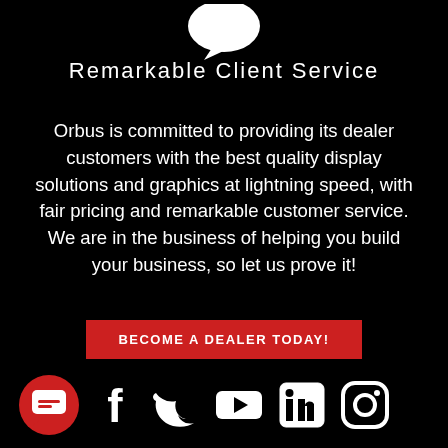[Figure (logo): White speech bubble / chat logo at the top center]
Remarkable Client Service
Orbus is committed to providing its dealer customers with the best quality display solutions and graphics at lightning speed, with fair pricing and remarkable customer service. We are in the business of helping you build your business, so let us prove it!
BECOME A DEALER TODAY!
[Figure (infographic): Row of social media icons: red chat icon, Facebook, Twitter, YouTube, LinkedIn, Instagram]